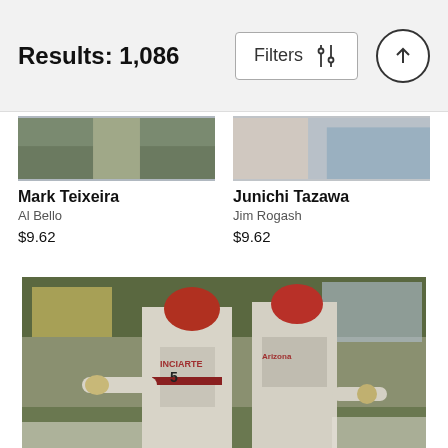Results: 1,086
Mark Teixeira
Al Bello
$9.62
Junichi Tazawa
Jim Rogash
$9.62
[Figure (photo): Two Arizona Diamondbacks baseball players in gray jerseys celebrating, one wearing #5 Inciarte jersey, the other in Arizona jersey, with a crowd in the background.]